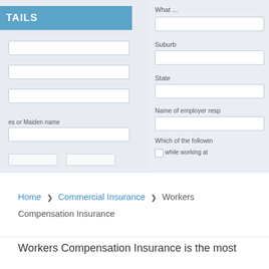[Figure (screenshot): Cropped screenshot of a workers compensation insurance claim form showing fields for Suburb, State, Name of employer resp, and options 'Which of the followin', 'while working at', with a teal header bar showing 'TAILS', and input boxes for 'es or Maiden name']
Home > Commercial Insurance > Workers Compensation Insurance
Workers Compensation Insurance is the most